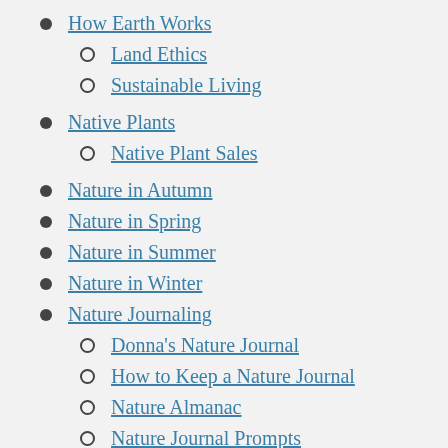How Earth Works
Land Ethics
Sustainable Living
Native Plants
Native Plant Sales
Nature in Autumn
Nature in Spring
Nature in Summer
Nature in Winter
Nature Journaling
Donna's Nature Journal
How to Keep a Nature Journal
Nature Almanac
Nature Journal Prompts